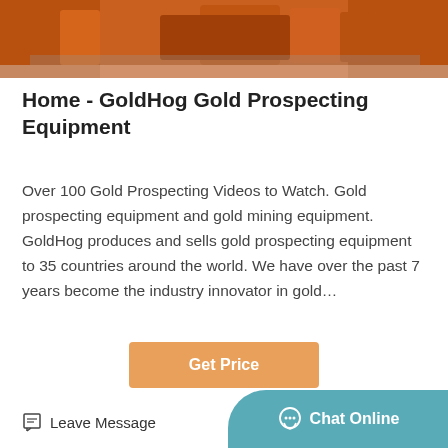[Figure (photo): Top portion of orange industrial mining equipment on a concrete floor]
Home - GoldHog Gold Prospecting Equipment
Over 100 Gold Prospecting Videos to Watch. Gold prospecting equipment and gold mining equipment. GoldHog produces and sells gold prospecting equipment to 35 countries around the world. We have over the past 7 years become the industry innovator in gold…
[Figure (other): Orange Get Price button]
[Figure (photo): Industrial mining machinery with large black flywheels in a warehouse setting]
Leave Message   Chat Online